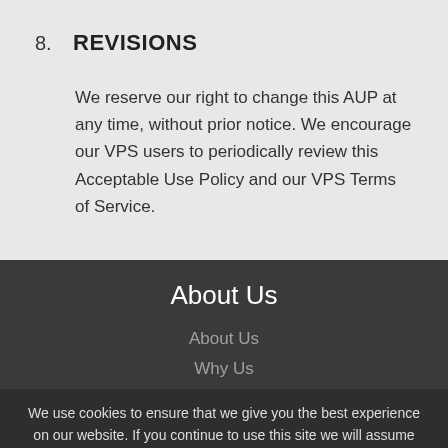8.  REVISIONS
We reserve our right to change this AUP at any time, without prior notice. We encourage our VPS users to periodically review this Acceptable Use Policy and our VPS Terms of Service.
About Us
About Us
Why Us
We use cookies to ensure that we give you the best experience on our website. If you continue to use this site we will assume that you are happy with it.
Ok  No  Privacy policy